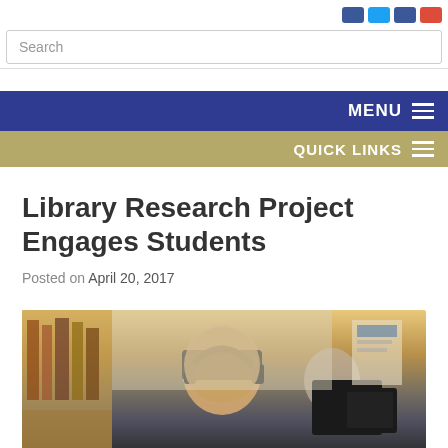Social media icons: Facebook, Twitter, YouTube, Google+
Search
MENU
QUICK LINKS
Library Research Project Engages Students
Posted on April 20, 2017
[Figure (photo): Students in a library/classroom setting using computers with headphones, bookshelves visible in the background]